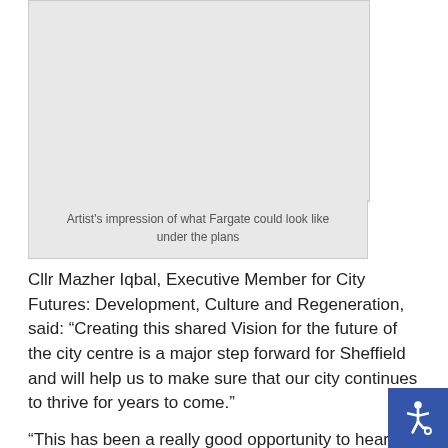[Figure (illustration): Artist's impression of what Fargate could look like under the plans — placeholder image box shown in light grey]
Artist's impression of what Fargate could look like under the plans
Cllr Mazher Iqbal, Executive Member for City Futures: Development, Culture and Regeneration, said: “Creating this shared Vision for the future of the city centre is a major step forward for Sheffield and will help us to make sure that our city continues to thrive for years to come.”
“This has been a really good opportunity to hear what people think about our city centre and to get residents and businesses involved in shaping our next steps together. We will continue to deliver fantastic new developments that reflect what people really value about our city.”